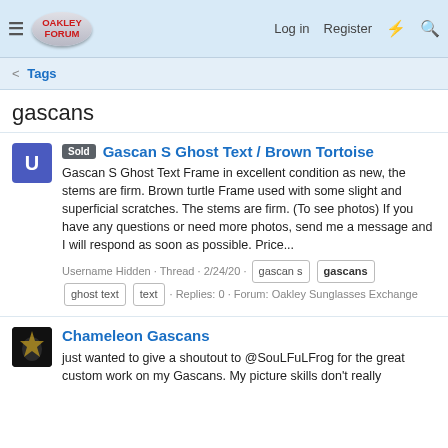Oakley Forum — Log in  Register
< Tags
gascans
Sold  Gascan S Ghost Text / Brown Tortoise
Gascan S Ghost Text Frame in excellent condition as new, the stems are firm. Brown turtle Frame used with some slight and superficial scratches. The stems are firm. (To see photos) If you have any questions or need more photos, send me a message and I will respond as soon as possible. Price...
Username Hidden · Thread · 2/24/20 · gascan s  gascans  ghost text  text · Replies: 0 · Forum: Oakley Sunglasses Exchange
Chameleon Gascans
just wanted to give a shoutout to @SouLFuLFrog for the great custom work on my Gascans. My picture skills don't really